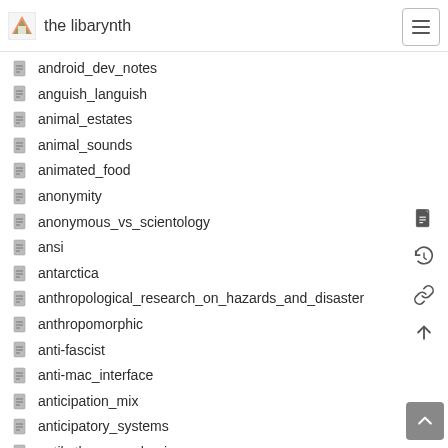the libarynth
android_dev_notes
anguish_languish
animal_estates
animal_sounds
animated_food
anonymity
anonymous_vs_scientology
ansi
antarctica
anthropological_research_on_hazards_and_disaster
anthropomorphic
anti-fascist
anti-mac_interface
anticipation_mix
anticipatory_systems
antikythera_mechanism
antipodes